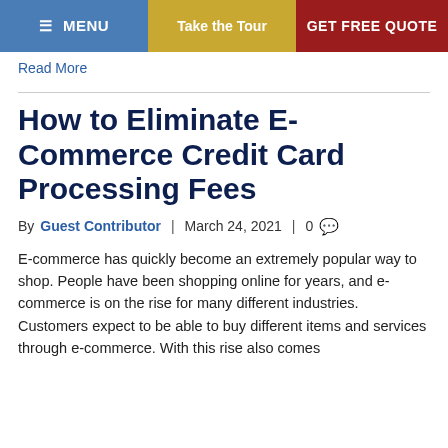MENU | Take the Tour | GET FREE QUOTE
Read More
How to Eliminate E-Commerce Credit Card Processing Fees
By Guest Contributor | March 24, 2021 | 0
E-commerce has quickly become an extremely popular way to shop. People have been shopping online for years, and e-commerce is on the rise for many different industries. Customers expect to be able to buy different items and services through e-commerce. With this rise also comes